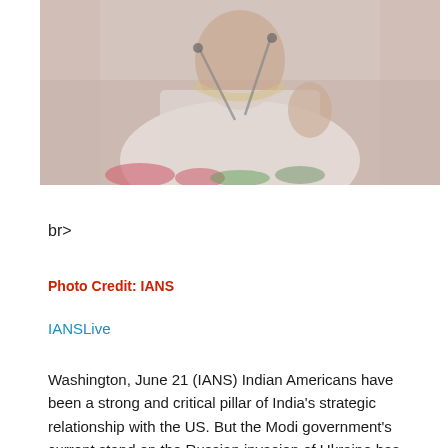[Figure (photo): A man in a white garment with a scarf gesturing while speaking at a podium with microphones, with flowers visible in the foreground.]
br>
Photo Credit: IANS
IANSLive
Washington, June 21 (IANS) Indian Americans have been a strong and critical pillar of India's strategic relationship with the US. But the Modi government's current stand on the Russian invasion of Ukraine has pushed them furthest than they have ever been from New Delhi. A bipartisan group of Indian Americans will loudly declare their estrangement from the Modi